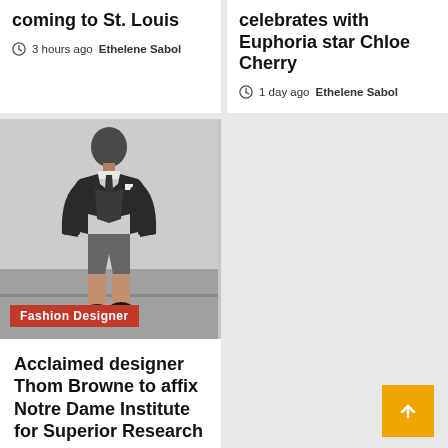coming to St. Louis
3 hours ago  Ethelene Sabol
celebrates with Euphoria star Chloe Cherry
1 day ago  Ethelene Sabol
[Figure (photo): Fashion designer man in dark suit jacket, white dress shirt, tie, and grey shorts, standing with hands in pockets. Orange badge reading 'Fashion Designer' at bottom left.]
Acclaimed designer Thom Browne to affix Notre Dame Institute for Superior Research